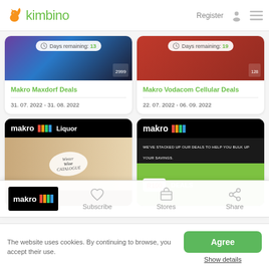kimbino — Register
[Figure (screenshot): Makro Maxdorf Deals catalogue cover image with Days remaining: 13 badge]
Makro Maxdorf Deals
31. 07. 2022 - 31. 08. 2022
[Figure (screenshot): Makro Vodacom Cellular Deals catalogue cover image with Days remaining: 19 badge]
Makro Vodacom Cellular Deals
22. 07. 2022 - 06. 09. 2022
[Figure (screenshot): Makro Liquor Winter Wine Catalogue cover image]
[Figure (screenshot): Makro R100 Deals catalogue cover image]
[Figure (logo): Makro logo (white text on black background with color stripe)]
Subscribe
Stores
Share
The website uses cookies. By continuing to browse, you accept their use.
Agree
Show details